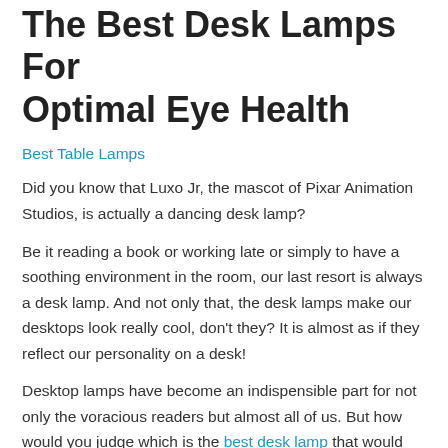The Best Desk Lamps For Optimal Eye Health
Best Table Lamps
Did you know that Luxo Jr, the mascot of Pixar Animation Studios, is actually a dancing desk lamp?
Be it reading a book or working late or simply to have a soothing environment in the room, our last resort is always a desk lamp. And not only that, the desk lamps make our desktops look really cool, don't they? It is almost as if they reflect our personality on a desk!
Desktop lamps have become an indispensible part for not only the voracious readers but almost all of us. But how would you judge which is the best desk lamp that would suit your need?
In this time and age where we have to spend lots of time studying,